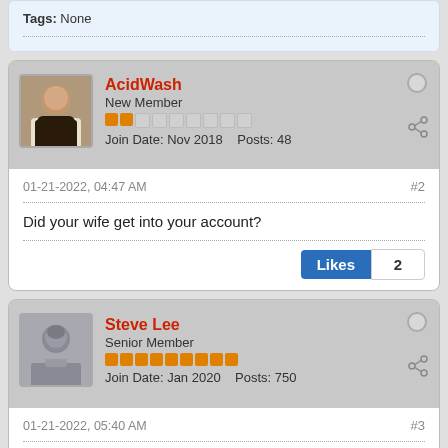Tags: None
AcidWash
New Member
Join Date: Nov 2018  Posts: 48
01-21-2022, 04:47 AM  #2
Did your wife get into your account?
Likes 2
Steve Lee
Senior Member
Join Date: Jan 2020  Posts: 750
01-21-2022, 05:40 AM  #3
Reasons not to respond to the ^ above: